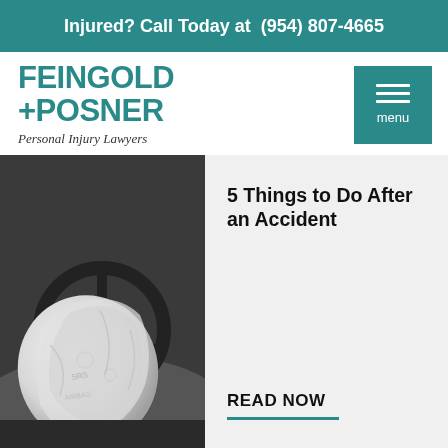Injured? Call Today at (954) 807-4665
[Figure (logo): Feingold + Posner Personal Injury Lawyers logo in teal color]
[Figure (illustration): Teal square menu button with three horizontal white lines and 'menu' label]
[Figure (photo): Black and white photograph of a deployed airbag on a car steering wheel after an accident]
5 Things to Do After an Accident
READ NOW